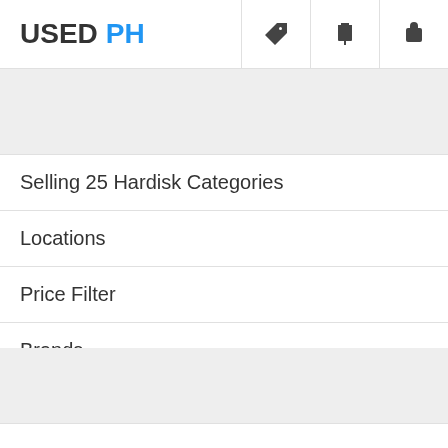USED PH
Selling 25 Hardisk Categories
Locations
Price Filter
Brands